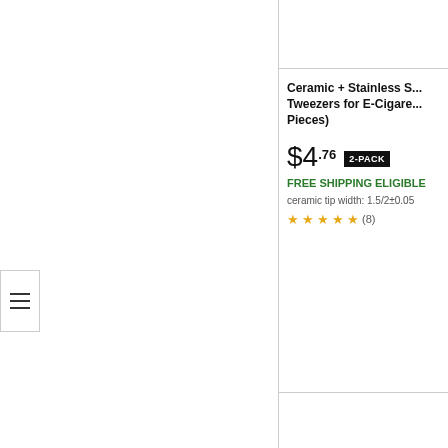[Figure (screenshot): Hamburger/menu icon with three horizontal lines]
Ceramic + Stainless S... Tweezers for E-Cigare... Pieces)
$4.76  2-PACK
FREE SHIPPING ELIGIBLE
ceramic tip width: 1.5/2±0.05
★★★★½ (8)